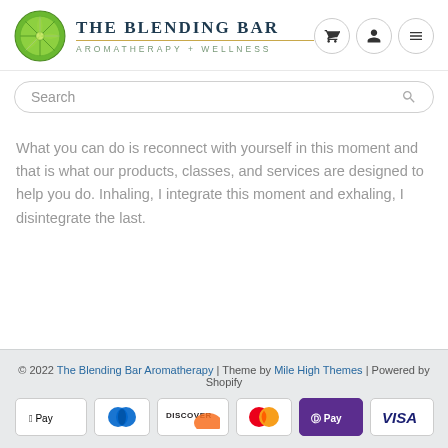[Figure (logo): The Blending Bar Aromatherapy + Wellness logo with lime slice icon]
Search
What you can do is reconnect with yourself in this moment and that is what our products, classes, and services are designed to help you do. Inhaling, I integrate this moment and exhaling, I disintegrate the last.
© 2022 The Blending Bar Aromatherapy | Theme by Mile High Themes | Powered by Shopify